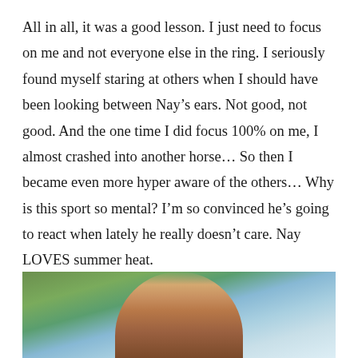All in all, it was a good lesson. I just need to focus on me and not everyone else in the ring. I seriously found myself staring at others when I should have been looking between Nay's ears. Not good, not good. And the one time I did focus 100% on me, I almost crashed into another horse… So then I became even more hyper aware of the others… Why is this sport so mental? I'm so convinced he's going to react when lately he really doesn't care. Nay LOVES summer heat.
[Figure (photo): Partial photo of a horse against a blue sky background with green trees visible, cropped at the bottom of the page showing mainly the upper body/neck area of the horse]